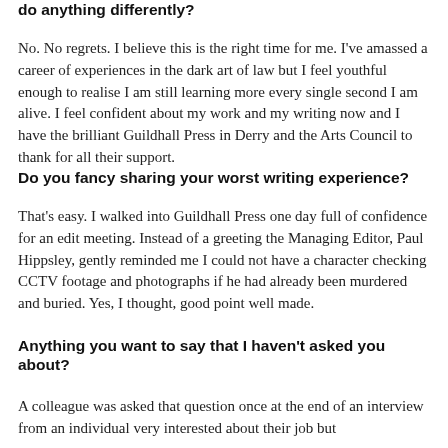do anything differently?
No. No regrets. I believe this is the right time for me. I've amassed a career of experiences in the dark art of law but I feel youthful enough to realise I am still learning more every single second I am alive. I feel confident about my work and my writing now and I have the brilliant Guildhall Press in Derry and the Arts Council to thank for all their support.
Do you fancy sharing your worst writing experience?
That's easy. I walked into Guildhall Press one day full of confidence for an edit meeting. Instead of a greeting the Managing Editor, Paul Hippsley, gently reminded me I could not have a character checking CCTV footage and photographs if he had already been murdered and buried. Yes, I thought, good point well made.
Anything you want to say that I haven't asked you about?
A colleague was asked that question once at the end of an interview from an individual very interested about their job but